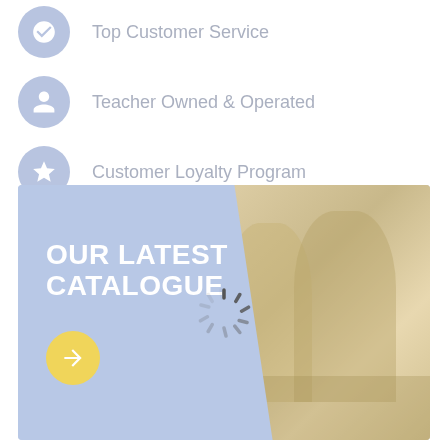Top Customer Service
Teacher Owned & Operated
Customer Loyalty Program
[Figure (illustration): Banner image with text 'OUR LATEST CATALOGUE' on blue background with children photo on right, a loading spinner overlay in the center, and a yellow arrow button]